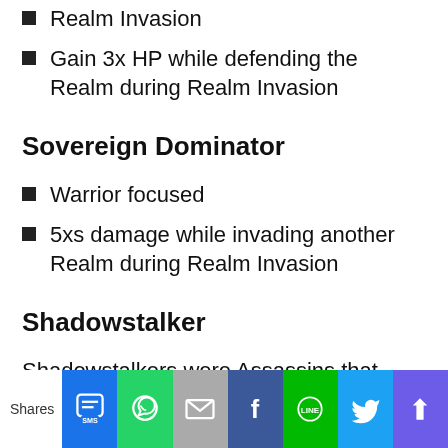Realm Invasion
Gain 3x HP while defending the Realm during Realm Invasion
Sovereign Dominator
Warrior focused
5xs damage while invading another Realm during Realm Invasion
Shadowstalker
Shadowstalkers were Assassins that were strong against Guardians, Calvaries, and Seige. However, weak against Mage and Traps.
Shares [social share buttons: SMS, WhatsApp, Email, Facebook, LINE, Twitter, Crown]